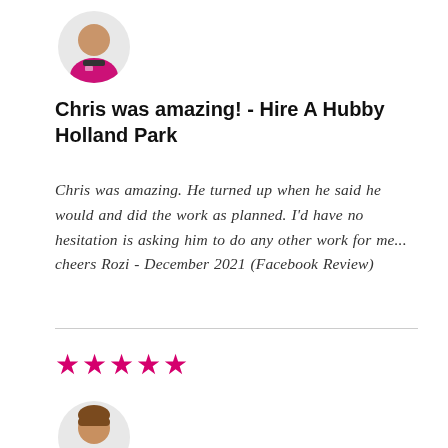[Figure (illustration): Avatar illustration of a person wearing a pink/magenta uniform, partial top crop]
Chris was amazing! - Hire A Hubby Holland Park
Chris was amazing. He turned up when he said he would and did the work as planned. I'd have no hesitation is asking him to do any other work for me... cheers Rozi - December 2021 (Facebook Review)
[Figure (illustration): Five pink/magenta star rating icons]
[Figure (illustration): Avatar illustration of a person with brown hair wearing a pink/magenta uniform, partial bottom crop]